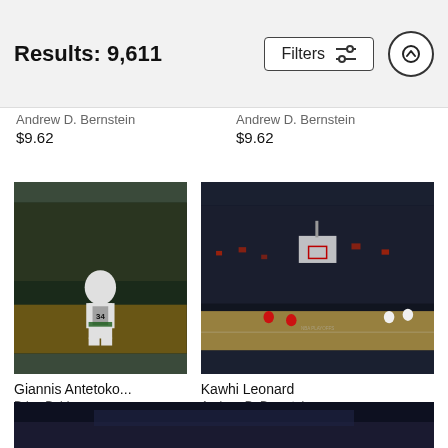Results: 9,611
Andrew D. Bernstein
$9.62
Andrew D. Bernstein
$9.62
[Figure (photo): NBA basketball player Giannis Antetokounmpo wearing Milwaukee Bucks jersey number 34, celebrating on court with crowd in background]
Giannis Antetoko...
Brian Babineau
$9.62
[Figure (photo): NBA basketball game wide-angle arena shot showing Kawhi Leonard with full crowd visible at what appears to be a playoff game]
Kawhi Leonard
Andrew D. Bernstein
$9.62
[Figure (photo): Partially visible NBA photo at the bottom of the page, dark arena scene]